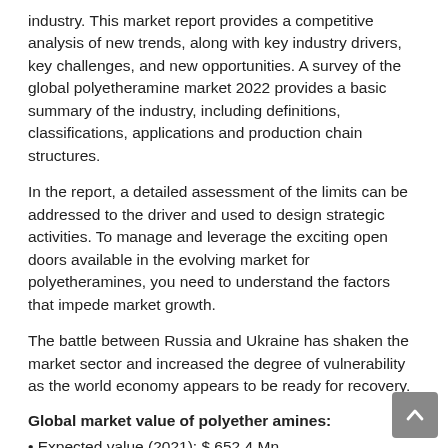industry. This market report provides a competitive analysis of new trends, along with key industry drivers, key challenges, and new opportunities. A survey of the global polyetheramine market 2022 provides a basic summary of the industry, including definitions, classifications, applications and production chain structures.
In the report, a detailed assessment of the limits can be addressed to the driver and used to design strategic activities. To manage and leverage the exciting open doors available in the evolving market for polyetheramines, you need to understand the factors that impede market growth.
The battle between Russia and Ukraine has shaken the market sector and increased the degree of vulnerability as the world economy appears to be ready for recovery.
Global market value of polyether amines:
• Expected value (2021): $ 652.4 Mn